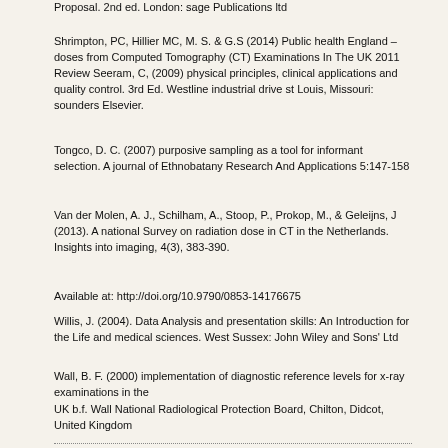Proposal. 2nd ed. London: sage Publications ltd
Shrimpton, PC, Hillier MC, M. S. & G.S (2014) Public health England –doses from Computed Tomography (CT) Examinations In The UK 2011 Review Seeram, C, (2009) physical principles, clinical applications and quality control. 3rd Ed. Westline industrial drive st Louis, Missouri: sounders Elsevier.
Tongco, D. C. (2007) purposive sampling as a tool for informant selection. A journal of Ethnobatany Research And Applications 5:147-158
Van der Molen, A. J., Schilham, A., Stoop, P., Prokop, M., & Geleijns, J (2013). A national Survey on radiation dose in CT in the Netherlands. Insights into imaging, 4(3), 383-390.
Available at: http://doi.org/10.9790/0853-14176675
Willis, J. (2004). Data Analysis and presentation skills: An Introduction for the Life and medical sciences. West Sussex: John Wiley and Sons' Ltd
Wall, B. F. (2000) implementation of diagnostic reference levels for x-ray examinations in the
UK b.f. Wall National Radiological Protection Board, Chilton, Didcot, United Kingdom
Zarb F., McEntee, M. & Rainford L. (2012). Maltese ct doses for commonly performed examinations demonstrate alignment with published DRLs across Europe. Radiation protection dosimetry, 150(2), 198-206. Available at http://doi.org/10.1093/rpd/ncr393